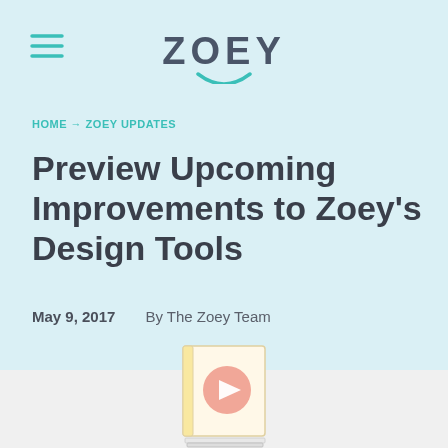ZOEY
HOME → ZOEY UPDATES
Preview Upcoming Improvements to Zoey's Design Tools
May 9, 2017   By The Zoey Team
[Figure (illustration): Video thumbnail icon — a book/document with a play button circle in the center, yellow/orange tones]